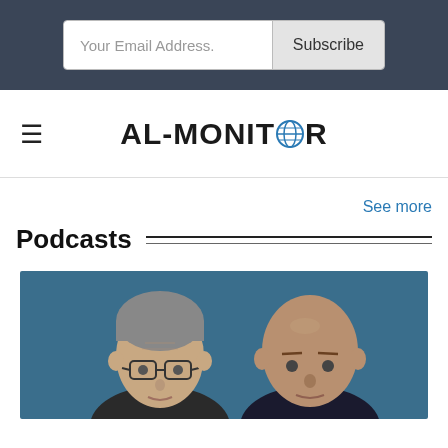Your Email Address. | Subscribe
AL-MONITOR
See more
Podcasts
[Figure (photo): Two men photographed against a blue background: one with grey hair and glasses on the left, one bald on the right.]